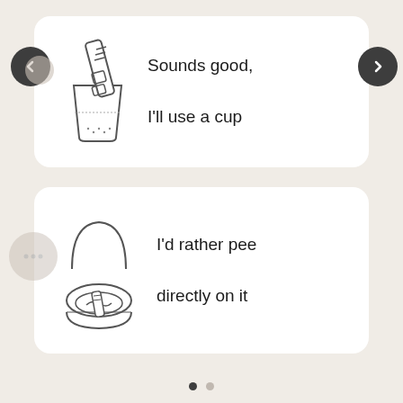[Figure (illustration): Illustration of a pregnancy test strip being dipped into a cup of liquid]
Sounds good,

I'll use a cup
[Figure (illustration): Illustration of a toilet with a pregnancy test]
I'd rather pee

directly on it